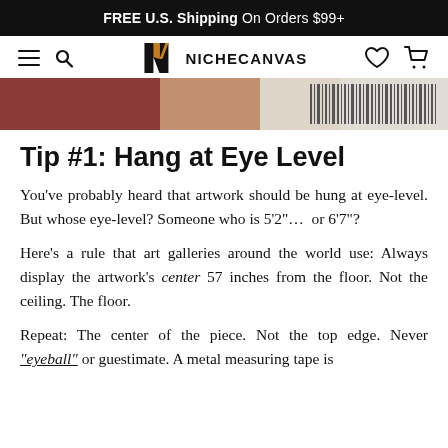FREE U.S. Shipping On Orders $99+
[Figure (logo): NicheCanvas navigation bar with hamburger menu, search icon, NicheCanvas logo, heart icon, and cart icon]
[Figure (photo): Partial cropped image showing a canvas artwork with reddish-brown color and a barcode label strip]
Tip #1: Hang at Eye Level
You've probably heard that artwork should be hung at eye-level. But whose eye-level? Someone who is 5'2"… or 6'7"?
Here's a rule that art galleries around the world use: Always display the artwork's center 57 inches from the floor. Not the ceiling. The floor.
Repeat: The center of the piece. Not the top edge. Never "eyeball" or guestimate. A metal measuring tape is